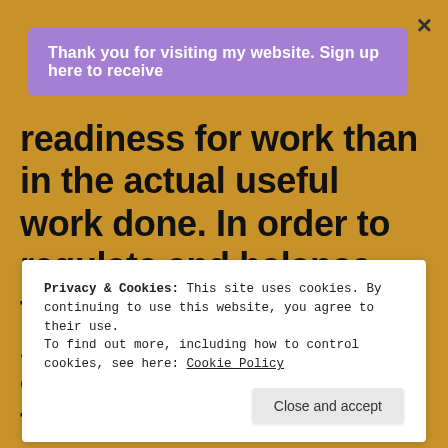×
Thank you for visiting my website. Sign up here to receive
readiness for work than in the actual useful work done. In order to regulate and balance the work of the body and mind, it is best to learn to economize the energy produced by our body. This may be
Privacy & Cookies: This site uses cookies. By continuing to use this website, you agree to their use.
To find out more, including how to control cookies, see here: Cookie Policy
Close and accept
and energy necessary for the next